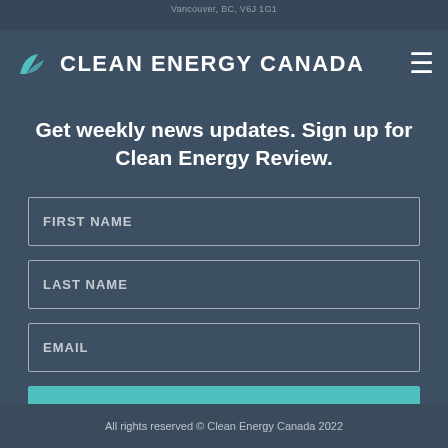Vancouver, BC, V6J 1G1
[Figure (logo): Clean Energy Canada logo with leaf/bird icon and text 'CLEAN ENERGY CANADA']
Get weekly news updates. Sign up for Clean Energy Review.
FIRST NAME
LAST NAME
EMAIL
Sign Up
All rights reserved © Clean Energy Canada 2022